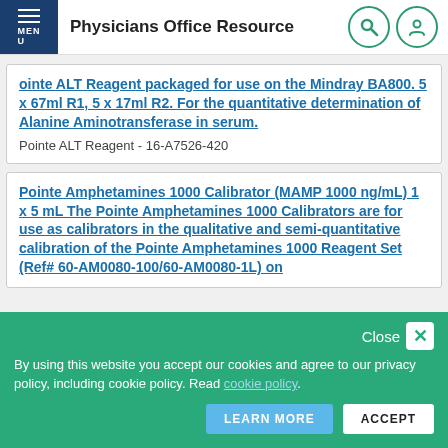Physicians Office Resource
Pointe ALT Reagent packaged for use on the Mindray BA800. 5 x 67ml R1, 5 x 17ml R2. For the quantitative determination of Alanine Aminotransferase in serum.
Pointe ALT Reagent - 16-A7526-420
Pointe Amphetamines 1000 Calibrator (MAMP 1000 ng/mL) 1 x 5 mL The Pointe Amphetamines 1000 Calibrators are for use as calibrators in the qualitative and semi-quantitative calibration of the Pointe Amphetamines 1000 Reagent Set (Ref# 60-AM0080-100/60-AM0080-1L) on
By using this website you accept our cookies and agree to our privacy policy, including cookie policy. Read cookie policy.